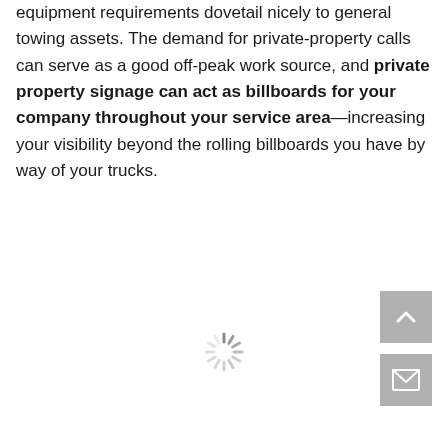equipment requirements dovetail nicely to general towing assets. The demand for private-property calls can serve as a good off-peak work source, and private property signage can act as billboards for your company throughout your service area—increasing your visibility beyond the rolling billboards you have by way of your trucks.
[Figure (other): Loading spinner icon (animated wheel/sunburst in gray)]
[Figure (other): Scroll-to-top button: dark gray square with white upward chevron arrow]
[Figure (other): Email/contact button: dark gray square with white envelope icon]